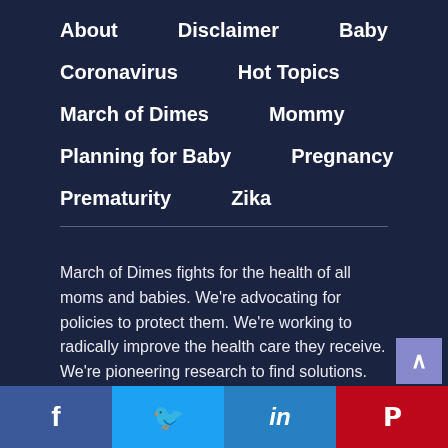About
Disclaimer
Baby
Coronavirus
Hot Topics
March of Dimes
Mommy
Planning for Baby
Pregnancy
Prematurity
Zika
March of Dimes fights for the health of all moms and babies. We're advocating for policies to protect them. We're working to radically improve the health care they receive. We're pioneering research to find solutions. We're empowering families with the knowledge and tools to have healthier pregnancies. By uniting communities, we're building a brighter future for all.